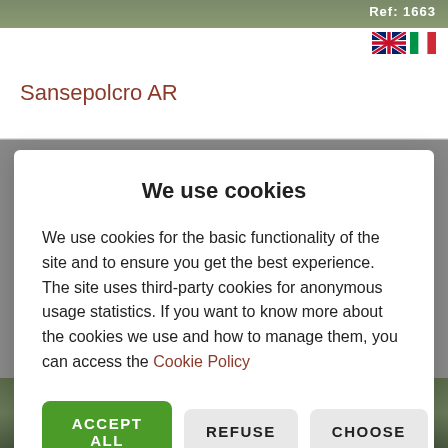Ref. 1663
[Figure (illustration): UK and Italian flag icons in the top-right corner of the header]
Sansepolcro AR
We use cookies
We use cookies for the basic functionality of the site and to ensure you get the best experience. The site uses third-party cookies for anonymous usage statistics. If you want to know more about the cookies we use and how to manage them, you can access the Cookie Policy
ACCEPT ALL
REFUSE
CHOOSE
CLOSE
[Figure (photo): Aerial/landscape photo of countryside at top of page]